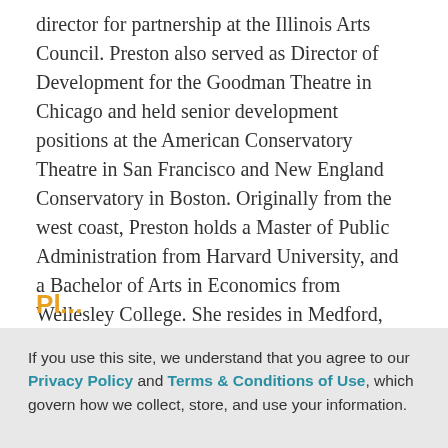director for partnership at the Illinois Arts Council. Preston also served as Director of Development for the Goodman Theatre in Chicago and held senior development positions at the American Conservatory Theatre in San Francisco and New England Conservatory in Boston. Originally from the west coast, Preston holds a Master of Public Administration from Harvard University, and a Bachelor of Arts in Economics from Wellesley College. She resides in Medford, Massachusetts with her husband, Michael.
Return to Board, Advisory, and Staff list ›
Pl...
If you use this site, we understand that you agree to our Privacy Policy and Terms & Conditions of Use, which govern how we collect, store, and use your information.